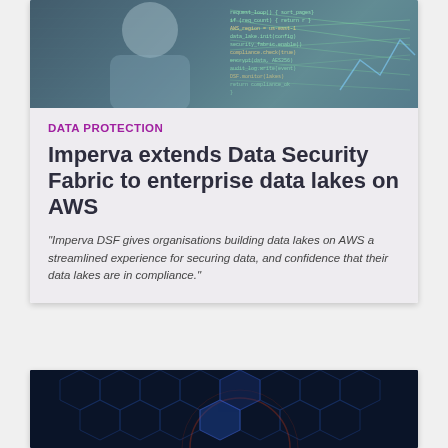[Figure (photo): Person working with holographic tech/code display overlay, dark blue tones]
DATA PROTECTION
Imperva extends Data Security Fabric to enterprise data lakes on AWS
"Imperva DSF gives organisations building data lakes on AWS a streamlined experience for securing data, and confidence that their data lakes are in compliance."
[Figure (photo): Dark tech background with hexagonal grid pattern and red/orange glowing orb – cybersecurity themed]